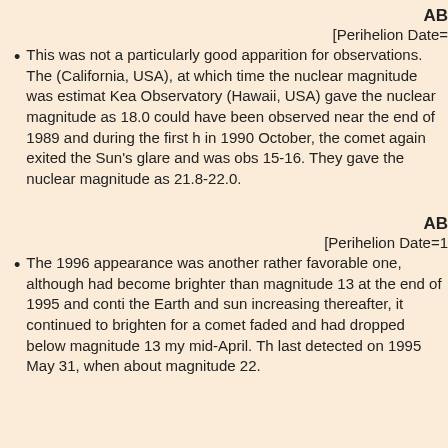AB
[Perihelion Date=
This was not a particularly good apparition for observations. The (California, USA), at which time the nuclear magnitude was estimat Kea Observatory (Hawaii, USA) gave the nuclear magnitude as 18.0 could have been observed near the end of 1989 and during the first h in 1990 October, the comet again exited the Sun's glare and was obs 15-16. They gave the nuclear magnitude as 21.8-22.0.
AB
[Perihelion Date=1
The 1996 appearance was another rather favorable one, although had become brighter than magnitude 13 at the end of 1995 and conti the Earth and sun increasing thereafter, it continued to brighten for a comet faded and had dropped below magnitude 13 my mid-April. Th last detected on 1995 May 31, when about magnitude 22.